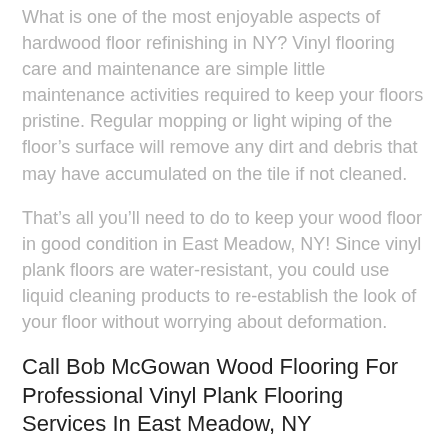What is one of the most enjoyable aspects of hardwood floor refinishing in NY? Vinyl flooring care and maintenance are simple little maintenance activities required to keep your floors pristine. Regular mopping or light wiping of the floor's surface will remove any dirt and debris that may have accumulated on the tile if not cleaned.
That's all you'll need to do to keep your wood floor in good condition in East Meadow, NY! Since vinyl plank floors are water-resistant, you could use liquid cleaning products to re-establish the look of your floor without worrying about deformation.
Call Bob McGowan Wood Flooring For Professional Vinyl Plank Flooring Services In East Meadow, NY
Bob McGowan Wood Flooring is a well-known and reputed flooring company near me in East Meadow, varStatShort. We are experts in hardwood floor refinishing, vinyl flooring, and